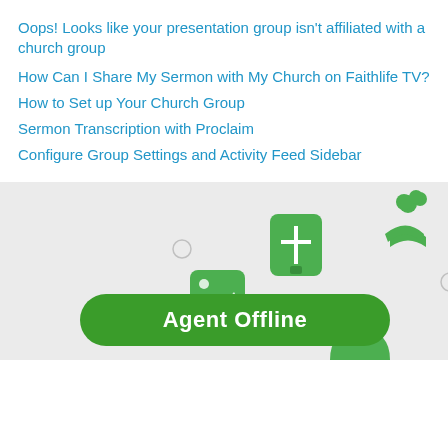Oops! Looks like your presentation group isn't affiliated with a church group
How Can I Share My Sermon with My Church on Faithlife TV?
How to Set up Your Church Group
Sermon Transcription with Proclaim
Configure Group Settings and Activity Feed Sidebar
[Figure (screenshot): Bottom section with light gray background showing green app icons (bible, image, headphones, people/help, document) floating on a gray background, with a green 'Agent Offline' pill button overlay at the bottom right]